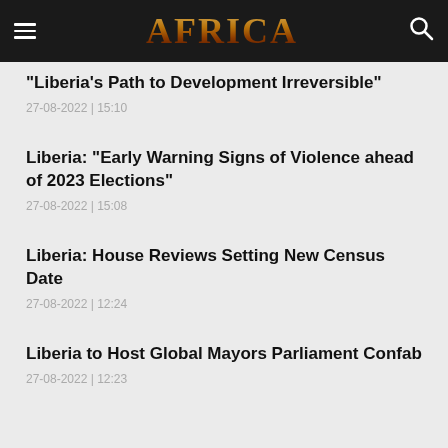AFRICA
“Liberia’s Path to Development Irreversible”
27-08-2022 | 15:10
Liberia: “Early Warning Signs of Violence ahead of 2023 Elections”
27-08-2022 | 15:08
Liberia: House Reviews Setting New Census Date
27-08-2022 | 12:24
Liberia to Host Global Mayors Parliament Confab
27-08-2022 | 12:23